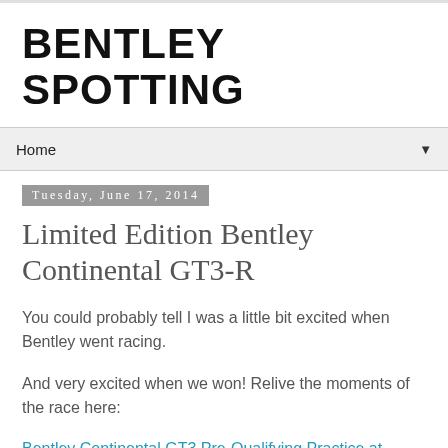BENTLEY SPOTTING
Home ▼
Tuesday, June 17, 2014
Limited Edition Bentley Continental GT3-R
You could probably tell I was a little bit excited when Bentley went racing.
And very excited when we won! Relive the moments of the race here:
Bentley Continental GT3 Pre-Qualifying Practice at Silverstone
Blancpain Endurance Series - Silverstone - Qualifying Practice - Sunday